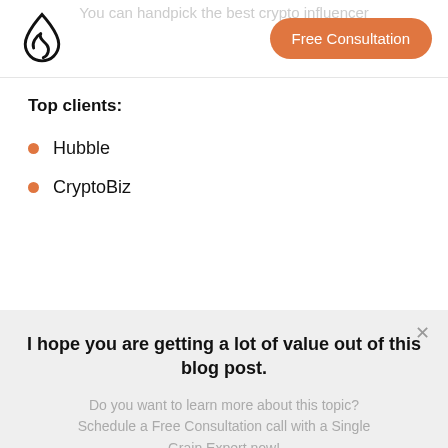You can handpick the best crypto influencer
[Figure (logo): Single Grain drop/flame logo mark in black outline]
Free Consultation
Top clients:
Hubble
CryptoBiz
I hope you are getting a lot of value out of this blog post.
Do you want to learn more about this topic? Schedule a Free Consultation call with a Single Grain Expert now!
Book a call